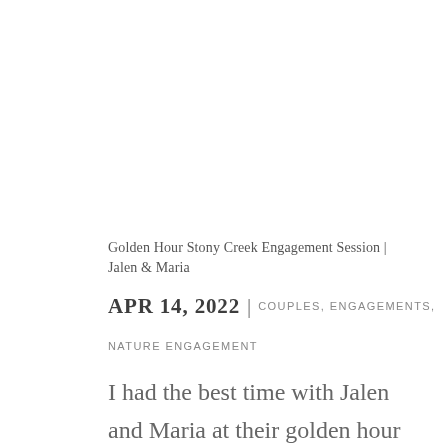Golden Hour Stony Creek Engagement Session | Jalen & Maria
APR 14, 2022 | COUPLES, ENGAGEMENTS, NATURE ENGAGEMENT
I had the best time with Jalen and Maria at their golden hour Stony Creek engagement session. These two